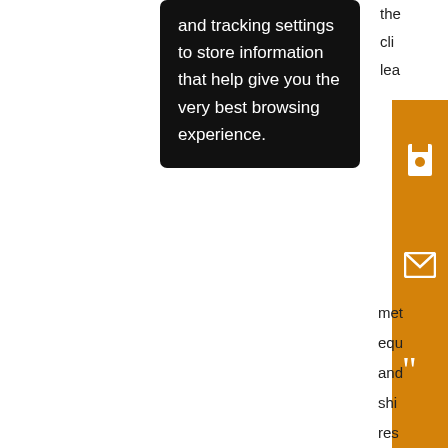and tracking settings to store information that help give you the very best browsing experience.
[Figure (screenshot): Orange sidebar with save, email, quote, annotation/alert, and share icons on an orange background]
the cli lea met equ and shi res